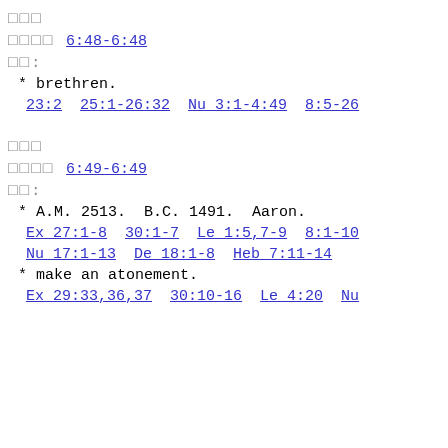□□□
□□□□ 6:48-6:48
□□:
* brethren.
23:2  25:1-26:32  Nu 3:1-4:49  8:5-26
□□□
□□□□ 6:49-6:49
□□:
* A.M. 2513.  B.C. 1491.  Aaron.
Ex 27:1-8  30:1-7  Le 1:5,7-9  8:1-10
Nu 17:1-13  De 18:1-8  Heb 7:11-14
* make an atonement.
Ex 29:33,36,37  30:10-16  Le 4:20  Nu